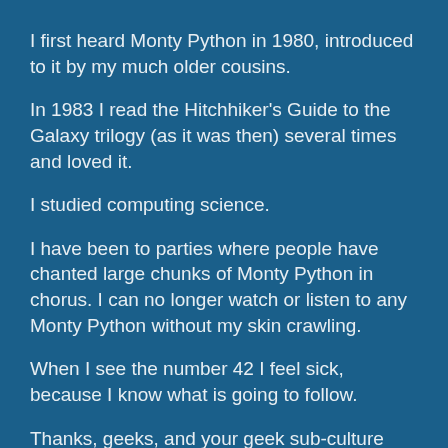I first heard Monty Python in 1980, introduced to it by my much older cousins.
In 1983 I read the Hitchhiker's Guide to the Galaxy trilogy (as it was then) several times and loved it.
I studied computing science.
I have been to parties where people have chanted large chunks of Monty Python in chorus. I can no longer watch or listen to any Monty Python without my skin crawling.
When I see the number 42 I feel sick, because I know what is going to follow.
Thanks, geeks, and your geek sub-culture and your geek sub-customs. Thanks for wrecking the funny.